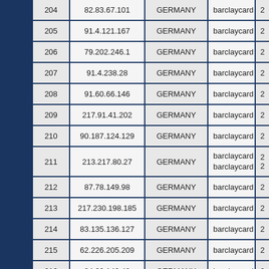| # | IP | COUNTRY | card | extra |
| --- | --- | --- | --- | --- |
| 204 | 82.83.67.101 | GERMANY | barclaycard | 2 |
| 205 | 91.4.121.167 | GERMANY | barclaycard | 2 |
| 206 | 79.202.246.1 | GERMANY | barclaycard | 2 |
| 207 | 91.4.238.28 | GERMANY | barclaycard | 2 |
| 208 | 91.60.66.146 | GERMANY | barclaycard | 2 |
| 209 | 217.91.41.202 | GERMANY | barclaycard | 2 |
| 210 | 90.187.124.129 | GERMANY | barclaycard | 2 |
| 211 | 213.217.80.27 | GERMANY | barclaycard
barclaycard | 2
2 |
| 212 | 87.78.149.98 | GERMANY | barclaycard | 2 |
| 213 | 217.230.198.185 | GERMANY | barclaycard | 2 |
| 214 | 83.135.136.127 | GERMANY | barclaycard | 2 |
| 215 | 62.226.205.209 | GERMANY | barclaycard | 2 |
| 216 | 84.60.142.48 | GERMANY | barclaycard | 2 |